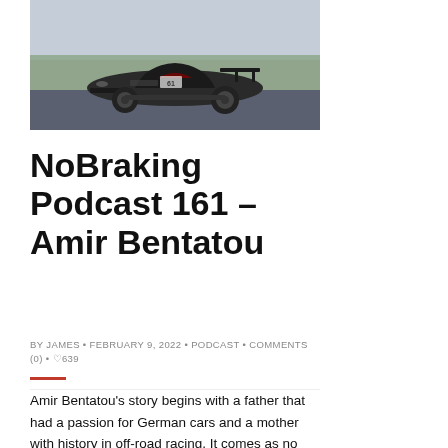[Figure (photo): A dark race car (sports car with wide body kit and large rear wing) on a track, photographed from the side. Trees visible in background.]
NoBraking Podcast 161 – Amir Bentatou
BY JAMES • FEBRUARY 9, 2022 • PODCAST • COMMENTS (0) • ♡639
Amir Bentatou's story begins with a father that had a passion for German cars and a mother with history in off-road racing. It comes as no surprise that Amir has grown into the man he is today, the founder of RS Future. RS Future is a motorsport focused shop based in Southern California who specialize in car development and